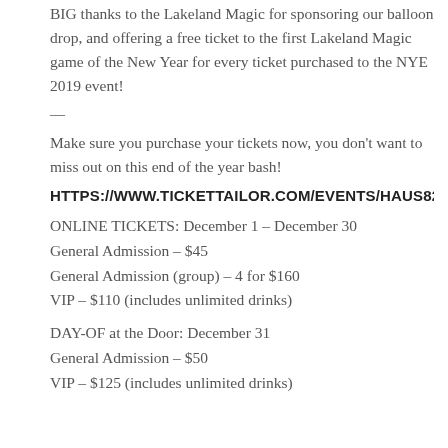BIG thanks to the Lakeland Magic for sponsoring our balloon drop, and offering a free ticket to the first Lakeland Magic game of the New Year for every ticket purchased to the NYE 2019 event!
—
Make sure you purchase your tickets now, you don't want to miss out on this end of the year bash!
HTTPS://WWW.TICKETTAILOR.COM/EVENTS/HAUS820/210206
ONLINE TICKETS: December 1 – December 30
General Admission – $45
General Admission (group) – 4 for $160
VIP – $110 (includes unlimited drinks)
DAY-OF at the Door: December 31
General Admission – $50
VIP – $125 (includes unlimited drinks)